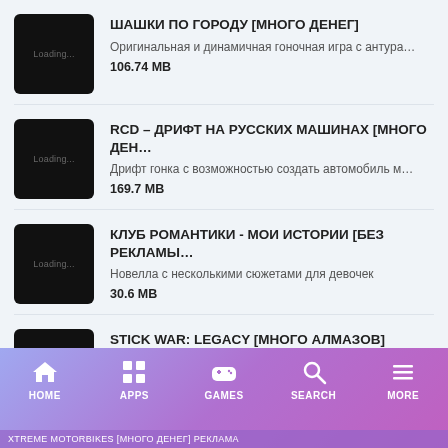ШАШКИ ПО ГОРОДУ [МНОГО ДЕНЕГ] — Оригинальная и динамичная гоночная игра с антура… — 106.74 MB
RCD – ДРИФТ НА РУССКИХ МАШИНАХ [МНОГО ДЕН… — Дрифт гонка с возможностью создать автомобиль м… — 169.7 MB
КЛУБ РОМАНТИКИ - МОИ ИСТОРИИ [БЕЗ РЕКЛАМЫ… — Новелла с несколькими сюжетами для девочек — 30.6 MB
STICK WAR: LEGACY [МНОГО АЛМАЗОВ] — Пошаговая стратегия в формате «стенка на стенку» — 103.85 MB
HOME  APPS  GAMES  SEARCH  MORE